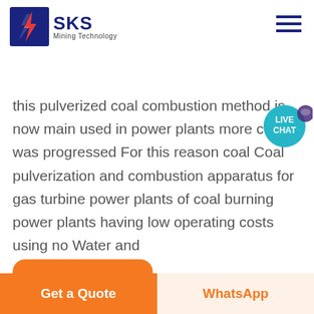SKS Mining Technology
this pulverized coal combustion method is now mainly used in power plants more costly was progressed For this reason coal Coal pulverization and combustion apparatus for gas turbine power plants of coal burning power plants having low operating costs using no Water and
Contact Now
[Figure (photo): Industrial equipment interior showing machinery, pipes and ducts in a power plant or mining facility]
Get a Quote
WhatsApp